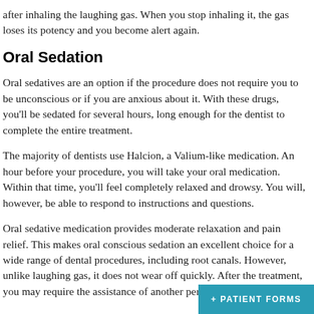after inhaling the laughing gas. When you stop inhaling it, the gas loses its potency and you become alert again.
Oral Sedation
Oral sedatives are an option if the procedure does not require you to be unconscious or if you are anxious about it. With these drugs, you'll be sedated for several hours, long enough for the dentist to complete the entire treatment.
The majority of dentists use Halcion, a Valium-like medication. An hour before your procedure, you will take your oral medication. Within that time, you'll feel completely relaxed and drowsy. You will, however, be able to respond to instructions and questions.
Oral sedative medication provides moderate relaxation and pain relief. This makes oral conscious sedation an excellent choice for a wide range of dental procedures, including root canals. However, unlike laughing gas, it does not wear off quickly. After the treatment, you may require the assistance of another perso…